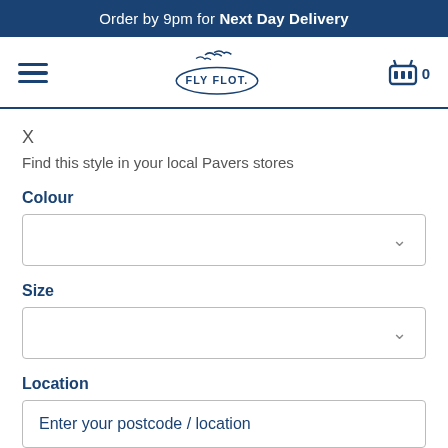Order by 9pm for Next Day Delivery
[Figure (logo): Fly Flot brand logo with seagulls above an oval containing the text FLY FLOT]
X
Find this style in your local Pavers stores
Colour
Size
Location
Enter your postcode / location